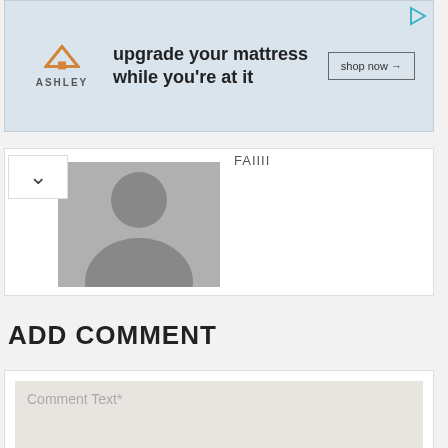[Figure (screenshot): Ashley Furniture advertisement banner with house logo, text 'upgrade your mattress while you're at it', and 'shop now' button]
[Figure (photo): User avatar placeholder showing silhouette of a person in gray]
ADD COMMENT
Comment Text*